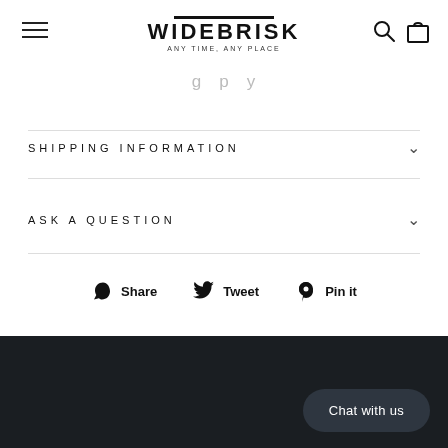WIDEBRISK — ANY TIME, ANY PLACE
...g...p...y...
SHIPPING INFORMATION
ASK A QUESTION
Share   Tweet   Pin it
Chat with us